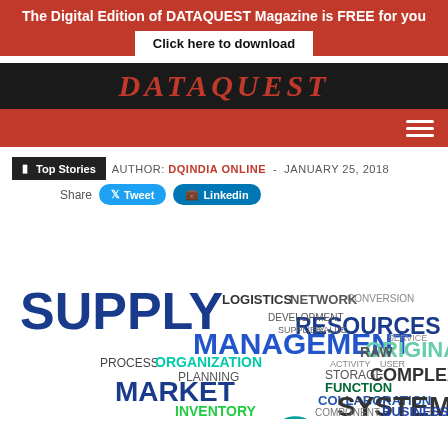The Digital Edition of DATAQUEST Magazine is FREE for you
Click here to download
[Figure (logo): DATAQUEST magazine logo in red italic serif font on dark background]
Top Stories   AUTHOR: DQINDIA ONLINE  -  JANUARY 25, 2018
Share  Tweet  Linkedin
[Figure (infographic): Supply chain management word cloud featuring words: SUPPLY, CHAIN, MANAGEMENT, PARTNER, LOGISTICS, NETWORK, RESOURCES, MARKET, ORGANIZATION, SYSTEM, TECHNOLOGY, COLLABORATION, FUNCTION, COMPLEX, ORIGINAL, DISTRIBUTION, INVENTORY, PLANNING, PROCESS, STORAGE, COMPONENT, PEOPLE, etc.]